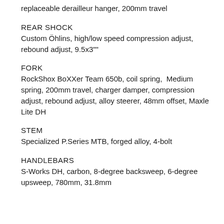replaceable derailleur hanger, 200mm travel
REAR SHOCK
Custom Öhlins, high/low speed compression adjust, rebound adjust, 9.5x3""
FORK
RockShox BoXXer Team 650b, coil spring,  Medium spring, 200mm travel, charger damper, compression adjust, rebound adjust, alloy steerer, 48mm offset, Maxle Lite DH
STEM
Specialized P.Series MTB, forged alloy, 4-bolt
HANDLEBARS
S-Works DH, carbon, 8-degree backsweep, 6-degree upsweep, 780mm, 31.8mm